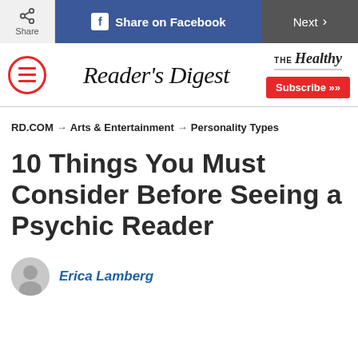Share | Share on Facebook | Next
[Figure (logo): Reader's Digest logo with menu icon and THE Healthy branding with Subscribe button]
RD.COM → Arts & Entertainment → Personality Types
10 Things You Must Consider Before Seeing a Psychic Reader
Erica Lamberg